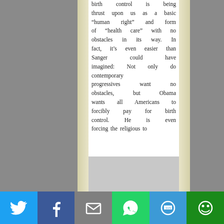birth control is being thrust upon us as a basic “human right” and form of “health care” with no obstacles in its way. In fact, it’s even easier than Sanger could have imagined: Not only do contemporary progressives want no obstacles, but Obama wants all Americans to forcibly pay for birth control. He is even forcing the religious to
[Figure (other): Social media sharing bar with buttons for Twitter, Facebook, Email, WhatsApp, SMS, and More]